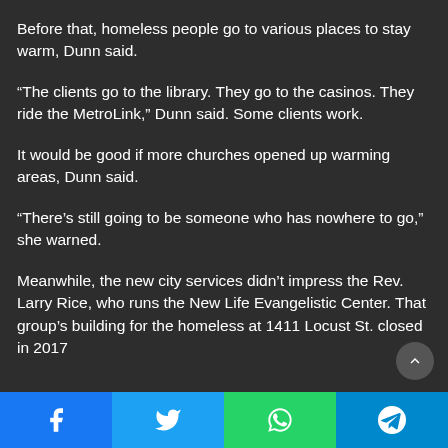Before that, homeless people go to various places to stay warm, Dunn said.
“The clients go to the library. They go to the casinos. They ride the MetroLink,” Dunn said. Some clients work.
It would be good if more churches opened up warming areas, Dunn said.
“There’s still going to be someone who has nowhere to go,” she warned.
Meanwhile, the new city services didn’t impress the Rev. Larry Rice, who runs the New Life Evangelistic Center. That group’s building for the homeless at 1411 Locust St. closed in 2017